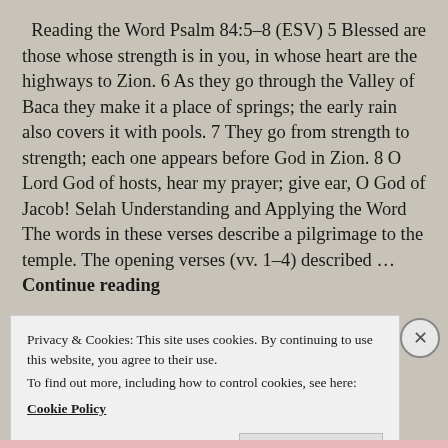Reading the Word Psalm 84:5–8 (ESV) 5 Blessed are those whose strength is in you, in whose heart are the highways to Zion. 6 As they go through the Valley of Baca they make it a place of springs; the early rain also covers it with pools. 7 They go from strength to strength; each one appears before God in Zion. 8 O Lord God of hosts, hear my prayer; give ear, O God of Jacob! Selah Understanding and Applying the Word The words in these verses describe a pilgrimage to the temple. The opening verses (vv. 1–4) described … Continue reading
Privacy & Cookies: This site uses cookies. By continuing to use this website, you agree to their use.
To find out more, including how to control cookies, see here:
Cookie Policy
Close and accept